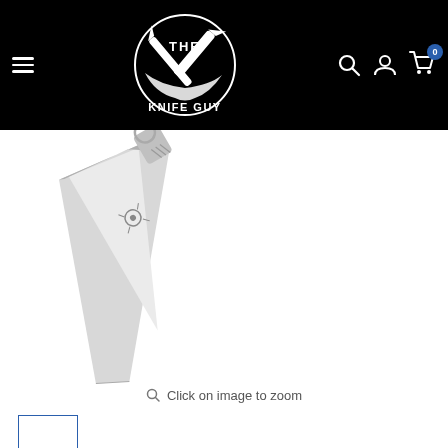[Figure (logo): The Knife Guy logo — crossed knife and cleaver held by muscular arms, circular text reading THE KNIFE GUY]
[Figure (photo): Spyderco folding knife with silver/stainless blade, shown open at an angle against white background. Spider logo visible on blade.]
Click on image to zoom
[Figure (photo): Small thumbnail image of the knife, outlined with blue border]